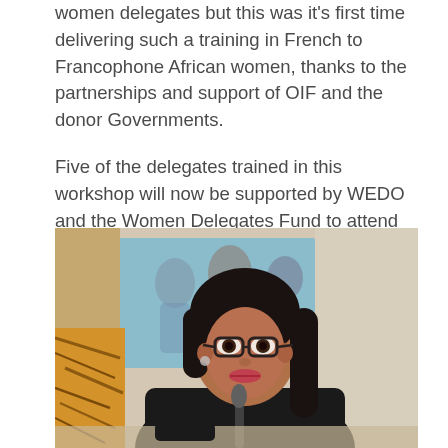women delegates but this was it's first time delivering such a training in French to Francophone African women, thanks to the partnerships and support of OIF and the donor Governments.
Five of the delegates trained in this workshop will now be supported by WEDO and the Women Delegates Fund to attend the upcoming climate negotiations in Katowice, Poland.
[Figure (photo): A woman with glasses and dark hair speaking at a microphone at a conference table, with a blurred background showing a group of women.]